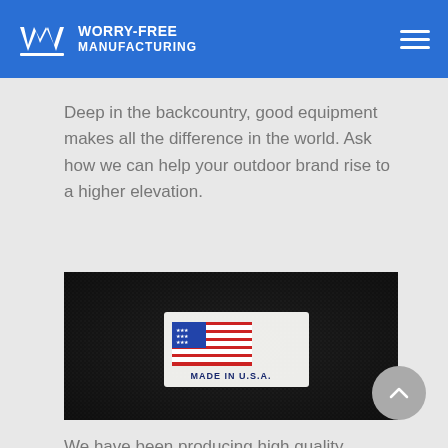WORRY-FREE MANUFACTURING
Deep in the backcountry, good equipment makes all the difference in the world. Ask how we can help your outdoor brand rise to a higher elevation.
[Figure (photo): Close-up photo of a 'Made in U.S.A.' label sewn onto dark nylon fabric.]
We have been producing high quality products in the USA since 1989. Contact us today to learn about how we can help your business.